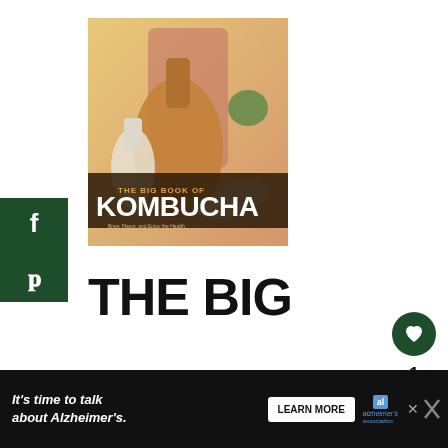[Figure (illustration): Book cover of 'The Big Book of Kombucha' showing bottles of kombucha drink with spices and bowls, with bold white title text on a colorful background]
THE BIG BOOK OF KOMBUCHA
[Figure (infographic): Social sharing sidebar with Facebook and Pinterest icons in dark green background on the left side]
[Figure (infographic): Right side UI: heart/like button (dark green circle with heart), count '1', and share button]
[Figure (infographic): Bottom advertisement banner: "It's time to talk about Alzheimer's." with LEARN MORE button and Alzheimer's Association logo on dark background]